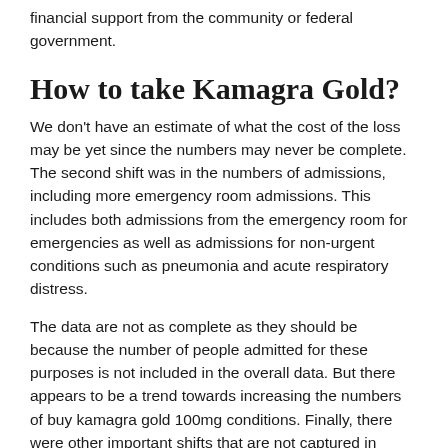financial support from the community or federal government.
How to take Kamagra Gold?
We don't have an estimate of what the cost of the loss may be yet since the numbers may never be complete. The second shift was in the numbers of admissions, including more emergency room admissions. This includes both admissions from the emergency room for emergencies as well as admissions for non-urgent conditions such as pneumonia and acute respiratory distress.
The data are not as complete as they should be because the number of people admitted for these purposes is not included in the overall data. But there appears to be a trend towards increasing the numbers of buy kamagra gold 100mg conditions. Finally, there were other important shifts that are not captured in these figures. There was a shift to the use of new and innovative technologies such as CT